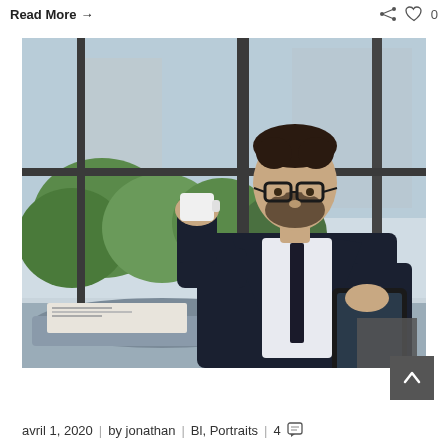Read More →
[Figure (photo): A businessman in a dark suit and glasses sitting in a cafe, drinking coffee from a white cup while reading from a tablet device. Background shows large windows with green plants/trees visible outside.]
avril 1, 2020  |  by jonathan  |  Bl, Portraits  |  4 💬